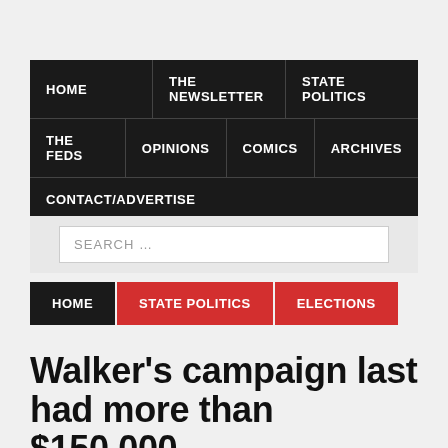HOME | THE NEWSLETTER | STATE POLITICS | THE FEDS | OPINIONS | COMICS | ARCHIVES | CONTACT/ADVERTISE
SEARCH ...
HOME  STATE POLITICS  ELECTIONS
Walker’s campaign last had more than $150,000